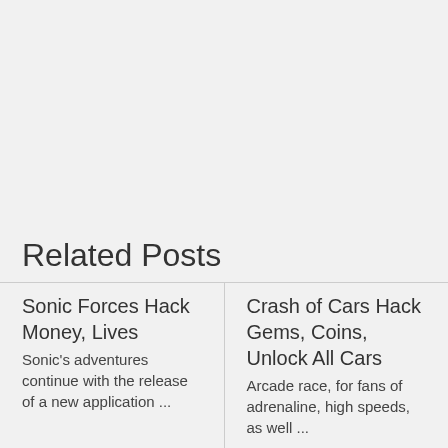Related Posts
Sonic Forces Hack Money, Lives
Sonic's adventures continue with the release of a new application ...
Crash of Cars Hack Gems, Coins, Unlock All Cars
Arcade race, for fans of adrenaline, high speeds, as well ...